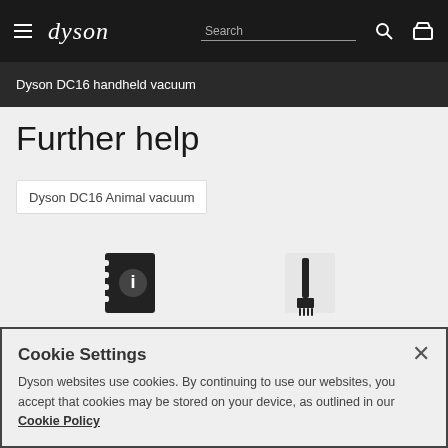dyson  Search
Dyson DC16 handheld vacuum
Further help
Dyson DC16 Animal vacuum
[Figure (illustration): Icon of a manual/guide book with an info symbol]
Guides and manuals
[Figure (illustration): Icon of parts and accessories (brush tool)]
Parts and accessories
Cookie Settings
Dyson websites use cookies. By continuing to use our websites, you accept that cookies may be stored on your device, as outlined in our Cookie Policy